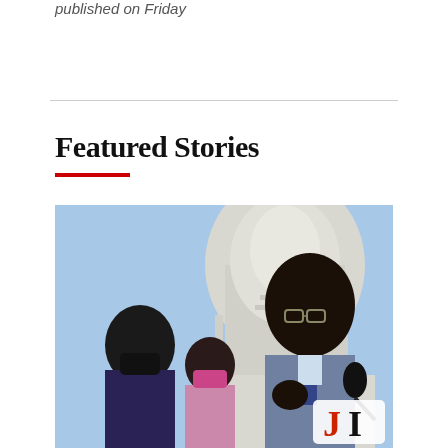published on Friday
Featured Stories
[Figure (photo): A man in a suit speaking at a podium outside the US Capitol building. Two women wearing masks stand beside him. A 'JI' logo watermark appears in the bottom right corner of the photo.]